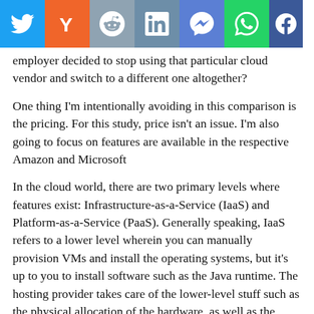Social share bar: Twitter, Hacker News, Reddit, LinkedIn, Messenger, WhatsApp, Facebook
employer decided to stop using that particular cloud vendor and switch to a different one altogether?
One thing I'm intentionally avoiding in this comparison is the pricing. For this study, price isn't an issue. I'm also going to focus on features are available in the respective Amazon and Microsoft
In the cloud world, there are two primary levels where features exist: Infrastructure-as-a-Service (IaaS) and Platform-as-a-Service (PaaS). Generally speaking, IaaS refers to a lower level wherein you can manually provision VMs and install the operating systems, but it's up to you to install software such as the Java runtime. The hosting provider takes care of the lower-level stuff such as the physical allocation of the hardware, as well as the patching of the operating system; but when it's time to install MySQL or the Java Runtime—well, that's your job. PaaS offers the same s